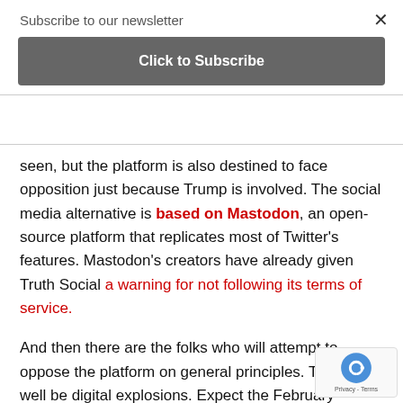Subscribe to our newsletter
Click to Subscribe
seen, but the platform is also destined to face opposition just because Trump is involved. The social media alternative is based on Mastodon, an open-source platform that replicates most of Twitter's features. Mastodon's creators have already given Truth Social a warning for not following its terms of service.
And then there are the folks who will attempt to oppose the platform on general principles. There may well be digital explosions. Expect the February launch of Trump's new megaphone to be fraught with issues, both internal and external. Also, expect it all to be breathlessly